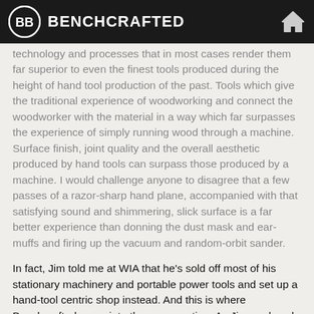BENCHCRAFTED
technology and processes that in most cases render them far superior to even the finest tools produced during the height of hand tool production of the past. Tools which give the traditional experience of woodworking and connect the woodworker with the material in a way which far surpasses the experience of simply running wood through a machine. Surface finish, joint quality and the overall aesthetic produced by hand tools can surpass those produced by a machine. I would challenge anyone to disagree that a few passes of a razor-sharp hand plane, accompanied with that satisfying sound and shimmering, slick surface is a far better experience than donning the dust mask and ear-muffs and firing up the vacuum and random-orbit sander.
In fact, Jim told me at WIA that he's sold off most of his stationary machinery and portable power tools and set up a hand-tool centric shop instead. And this is where Benchcrafted came into the conversation. As Jim analyzed our Split-Top Roubo he came to the conclusion that this would be the bench for his home shop. So he and I developed a collaborative plan where Benchcrafted